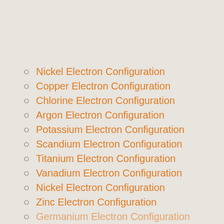Nickel Electron Configuration
Copper Electron Configuration
Chlorine Electron Configuration
Argon Electron Configuration
Potassium Electron Configuration
Scandium Electron Configuration
Titanium Electron Configuration
Vanadium Electron Configuration
Nickel Electron Configuration
Zinc Electron Configuration
Germanium Electron Configuration